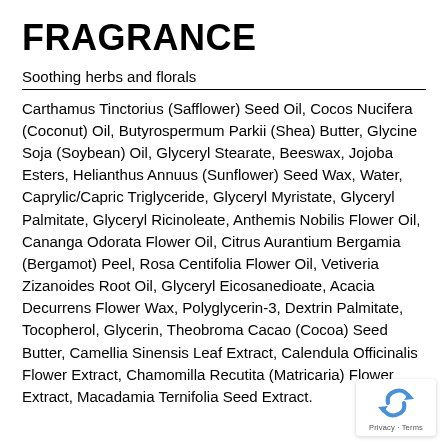FRAGRANCE
Soothing herbs and florals
Carthamus Tinctorius (Safflower) Seed Oil, Cocos Nucifera (Coconut) Oil, Butyrospermum Parkii (Shea) Butter, Glycine Soja (Soybean) Oil, Glyceryl Stearate, Beeswax, Jojoba Esters, Helianthus Annuus (Sunflower) Seed Wax, Water, Caprylic/Capric Triglyceride, Glyceryl Myristate, Glyceryl Palmitate, Glyceryl Ricinoleate, Anthemis Nobilis Flower Oil, Cananga Odorata Flower Oil, Citrus Aurantium Bergamia (Bergamot) Peel, Rosa Centifolia Flower Oil, Vetiveria Zizanoides Root Oil, Glyceryl Eicosanedioate, Acacia Decurrens Flower Wax, Polyglycerin-3, Dextrin Palmitate, Tocopherol, Glycerin, Theobroma Cacao (Cocoa) Seed Butter, Camellia Sinensis Leaf Extract, Calendula Officinalis Flower Extract, Chamomilla Recutita (Matricaria) Flower Extract, Macadamia Ternifolia Seed Extract.
[Figure (logo): reCAPTCHA badge with Privacy and Terms text]